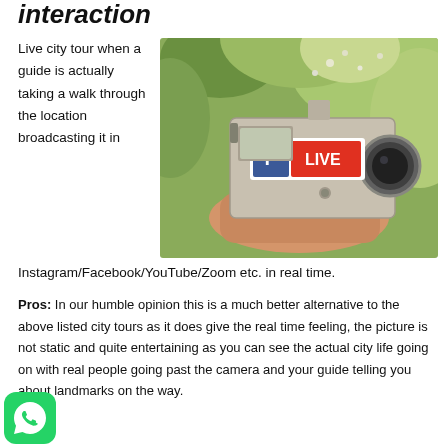interaction
Live city tour when a guide is actually taking a walk through the location broadcasting it in Instagram/Facebook/YouTube/Zoom etc. in real time.
[Figure (photo): A person holding a vintage-style camera with a Facebook LIVE overlay badge, surrounded by green foliage.]
Pros: In our humble opinion this is a much better alternative to the above listed city tours as it does give the real time feeling, the picture is not static and quite entertaining as you can see the actual city life going on with real people going past the camera and your guide telling you about landmarks on the way.
[Figure (logo): WhatsApp logo icon — green rounded square with white phone handset.]